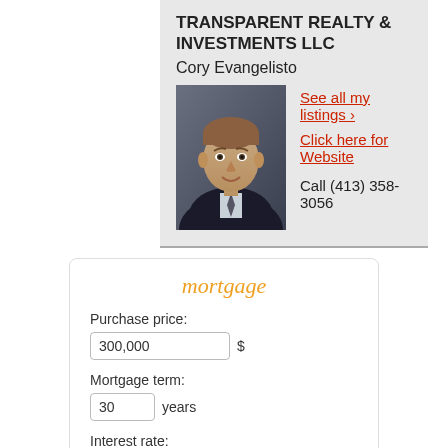TRANSPARENT REALTY & INVESTMENTS LLC
Cory Evangelisto
[Figure (photo): Professional headshot of Cory Evangelisto, a man in a dark suit with a tie, against a gray background]
See all my listings ›
Click here for Website
Call (413) 358-3056
mortgage
Purchase price:
300,000 $
Mortgage term:
30 years
Interest rate:
4.5 %
First payment date: